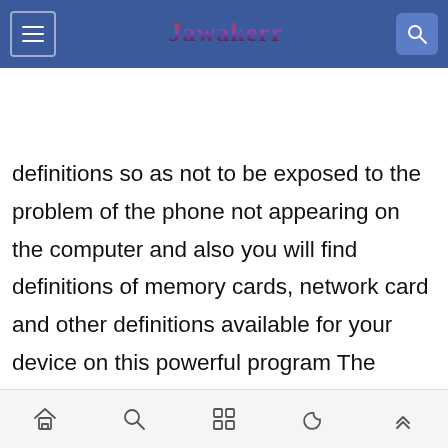Jawakerr (navigation bar with menu and search)
keyboard, Wi-Fi definitions, bluetooth definitions, webcam definitions and phone definitions so as not to be exposed to the problem of the phone not appearing on the computer and also you will find definitions of memory cards, network card and other definitions available for your device on this powerful program The program supports almost all companies producing laptops and computers such as Dell, LG, Asus, Sony, Samsung, MSI, Toshiba, Lenovo, Fujitsu *and there is a large list of manufacturers that you will
Bottom navigation bar with home, search, grid, moon, and up-arrow icons